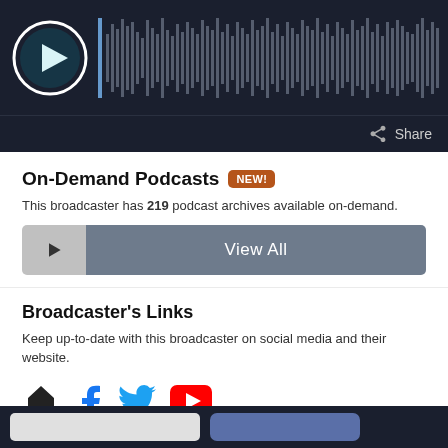[Figure (screenshot): Audio player with play button circle and waveform visualization on dark background]
Share
On-Demand Podcasts NEW!
This broadcaster has 219 podcast archives available on-demand.
View All
Broadcaster's Links
Keep up-to-date with this broadcaster on social media and their website.
[Figure (illustration): Social media icons: home, Facebook, Twitter, YouTube]